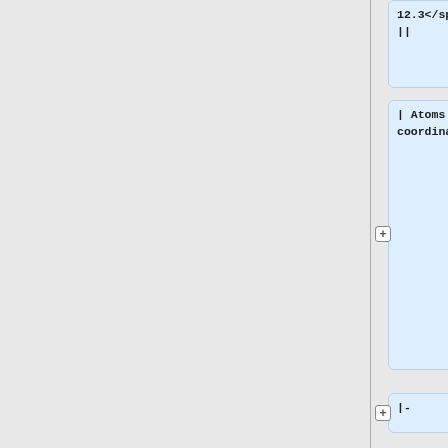12.3</span>
||
| Atoms with model-space z coordinate greater than 12.3
|-
!colspan="3" style="text-align:left"| Atom typing
|-
| text_type <span style="color: #999">TT</sp an> || tt